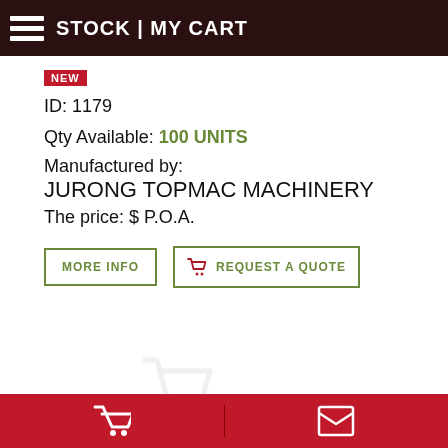STOCK | MY CART
NEW
ID: 1179
Qty Available: 100 UNITS
Manufactured by:
JURONG TOPMAC MACHINERY
The price: $ P.O.A.
MORE INFO
REQUEST A QUOTE